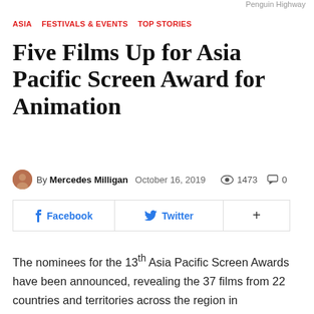Penguin Highway
ASIA   FESTIVALS & EVENTS   TOP STORIES
Five Films Up for Asia Pacific Screen Award for Animation
By Mercedes Milligan  October 16, 2019  👁 1473  💬 0
f  Facebook    🐦  Twitter    +
The nominees for the 13th Asia Pacific Screen Awards have been announced, revealing the 37 films from 22 countries and territories across the region in competition. Once again, five visually intriguing and thematically diverse pictures are in the running for the Best Animated Feature